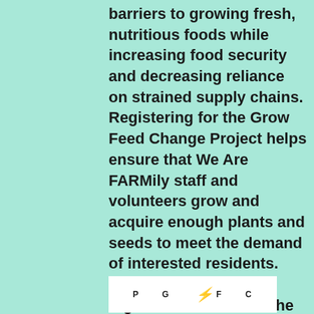barriers to growing fresh, nutritious foods while increasing food security and decreasing reliance on strained supply chains. Registering for the Grow Feed Change Project helps ensure that We Are FARMily staff and volunteers grow and acquire enough plants and seeds to meet the demand of interested residents.  NOTE:  Any local registrants outside of the listed communities will be placed on a wait list in the event additional starts and seeds are available.  ALL distributions of plant starts and seeds are in person and WILL NOT be mailed/shipped.
[Figure (logo): Partial logo at bottom, white background with text and red flame/lightning bolt icon]